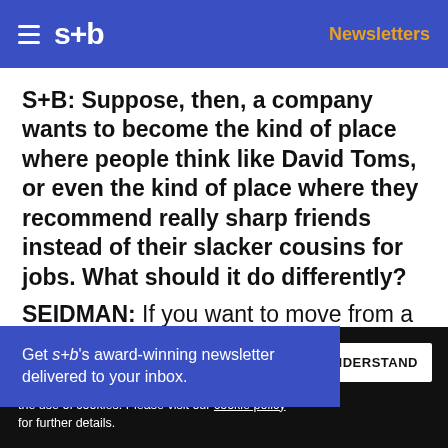s+b | Newsletters
S+B: Suppose, then, a company wants to become the kind of place where people think like David Toms, or even the kind of place where they recommend really sharp friends instead of their slacker cousins for jobs. What should it do differently?
SEIDMAN: If you want to move from a blind [obedience to a self-determining…] signing up for a
Get s+b's award-winning newsletter delivered to your inbox.
We use cookies to personalize content and to provide you with an improved user experience. By continuing to browse this site you consent to the use of cookies. Please visit our cookie policy for further details.